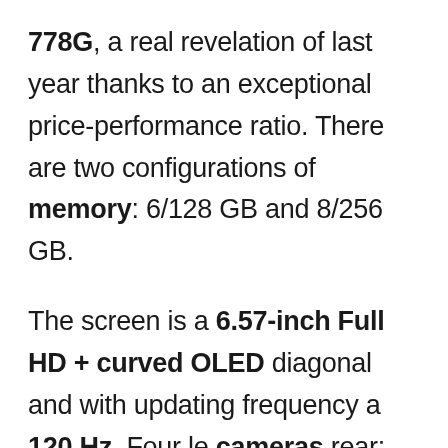778G, a real revelation of last year thanks to an exceptional price-performance ratio. There are two configurations of memory: 6/128 GB and 8/256 GB.

The screen is a 6.57-inch Full HD + curved OLED diagonal and with updating frequency a 120 Hz. Four le cameras rear: main 100 megapixel f/1.9, ultra wide angle 8 megapixel f/2.2 and two 2 megapixel cameras each